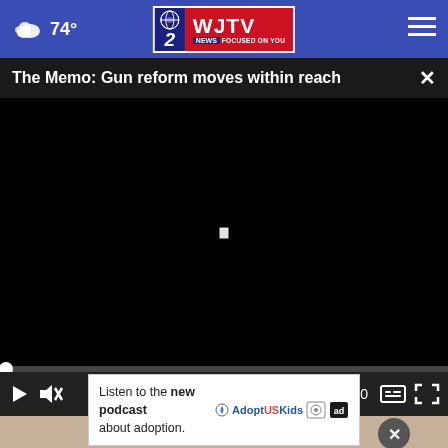74° WJTV 12 News Focused On You
The Memo: Gun reform moves within reach
[Figure (screenshot): Black video player area with a small white play icon in the center and video playback controls at the bottom showing 00:00 timestamp, play button, mute button, captions button, and fullscreen button. A progress bar with white dot sits above the controls.]
Listen to the new podcast about adoption.